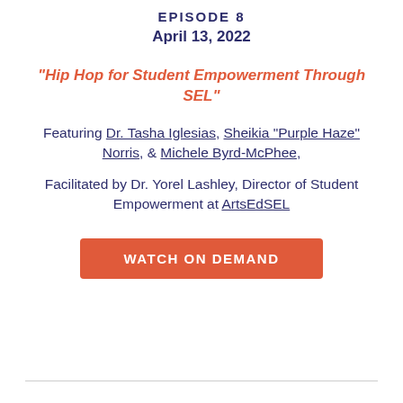EPISODE 8
April 13, 2022
“Hip Hop for Student Empowerment Through SEL”
Featuring Dr. Tasha Iglesias, Sheikia “Purple Haze” Norris, & Michele Byrd-McPhee, Facilitated by Dr. Yorel Lashley, Director of Student Empowerment at ArtsEdSEL
WATCH ON DEMAND